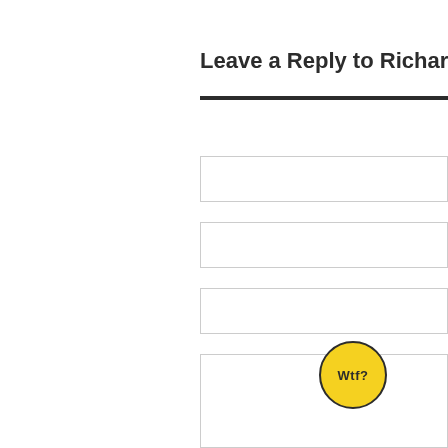Leave a Reply to Richard Cancel
[Figure (screenshot): A web form with three single-line input fields and one large textarea for comment submission, plus a circular yellow badge reading 'Wtf?']